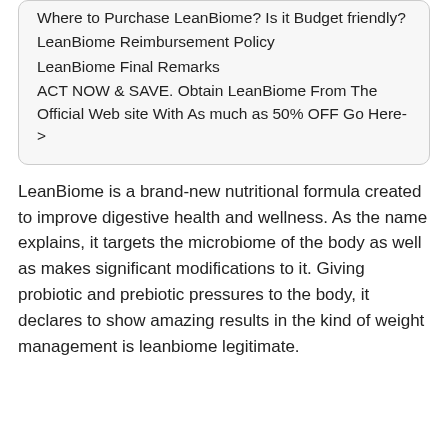Where to Purchase LeanBiome? Is it Budget friendly?
LeanBiome Reimbursement Policy
LeanBiome Final Remarks
ACT NOW & SAVE. Obtain LeanBiome From The Official Web site With As much as 50% OFF Go Here->
LeanBiome is a brand-new nutritional formula created to improve digestive health and wellness. As the name explains, it targets the microbiome of the body as well as makes significant modifications to it. Giving probiotic and prebiotic pressures to the body, it declares to show amazing results in the kind of weight management is leanbiome legitimate.